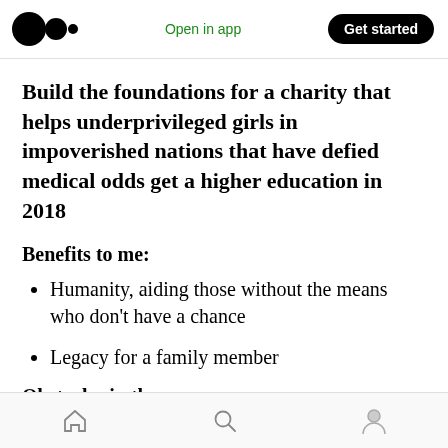Open in app | Get started
Build the foundations for a charity that helps underprivileged girls in impoverished nations that have defied medical odds get a higher education in 2018
Benefits to me:
Humanity, aiding those without the means who don't have a chance
Legacy for a family member
Obstacles in the way:
Home | Search | Profile